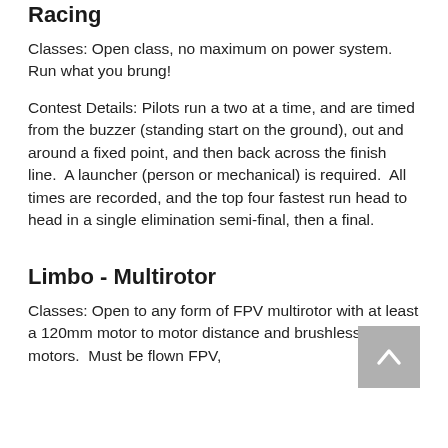Racing
Classes: Open class, no maximum on power system.  Run what you brung!
Contest Details: Pilots run a two at a time, and are timed from the buzzer (standing start on the ground), out and around a fixed point, and then back across the finish line.  A launcher (person or mechanical) is required.  All times are recorded, and the top four fastest run head to head in a single elimination semi-final, then a final.
Limbo - Multirotor
Classes: Open to any form of FPV multirotor with at least a 120mm motor to motor distance and brushless motors.  Must be flown FPV,